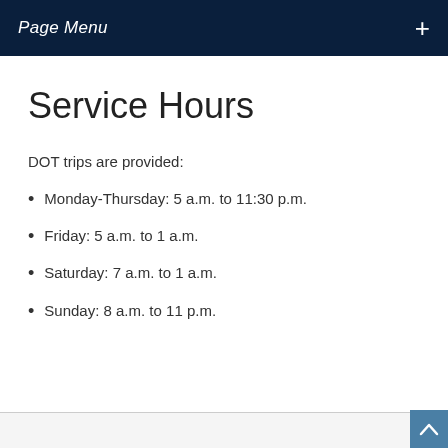Page Menu
Service Hours
DOT trips are provided:
Monday-Thursday: 5 a.m. to 11:30 p.m.
Friday: 5 a.m. to 1 a.m.
Saturday: 7 a.m. to 1 a.m.
Sunday: 8 a.m. to 11 p.m.